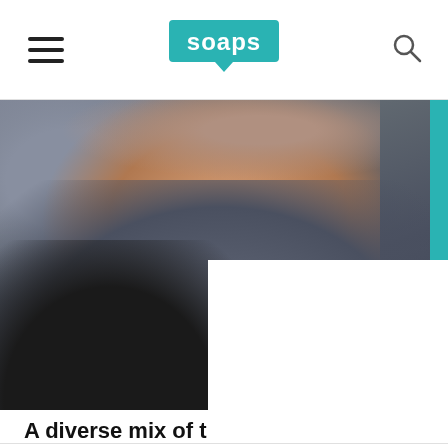soaps
[Figure (photo): Close-up photo of a man's neck and lower face area, wearing a grey/dark striped collared shirt. The image is partially cropped with a white area in the bottom right corner. A teal accent bar appears on the right side.]
A diverse mix of t